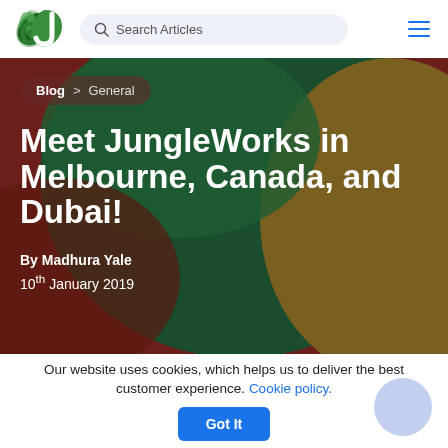JungleWorks logo | Search Articles | hamburger menu
[Figure (screenshot): Hero background with abstract blobs of dark red, forest green, and olive/gold colors forming a decorative background]
Blog > General
Meet JungleWorks in Melbourne, Canada, and Dubai!
By Madhura Yale
10th January 2019
Our website uses cookies, which helps us to deliver the best customer experience. Cookie policy. Got It